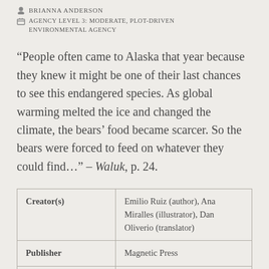BRIANNA ANDERSON
AGENCY LEVEL 3: MODERATE, PLOT-DRIVEN ENVIRONMENTAL AGENCY
“People often came to Alaska that year because they knew it might be one of their last chances to see this endangered species. As global warming melted the ice and changed the climate, the bears’ food became scarcer. So the bears were forced to feed on whatever they could find…” – Waluk, p. 24.
| Creator(s) | Publisher | Publication Date |
| --- | --- | --- |
| Creator(s) | Emilio Ruiz (author), Ana Miralles (illustrator), Dan Oliverio (translator) |
| Publisher | Magnetic Press |
| Publication Date | 2013 |